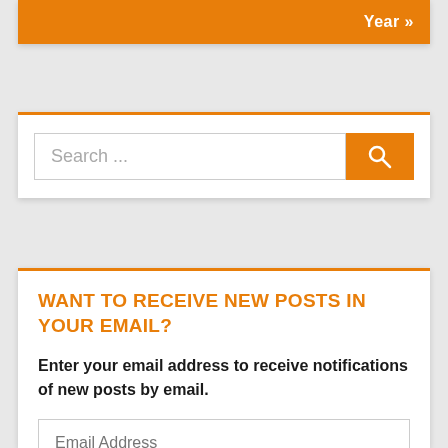Year »
Search ...
WANT TO RECEIVE NEW POSTS IN YOUR EMAIL?
Enter your email address to receive notifications of new posts by email.
Email Address